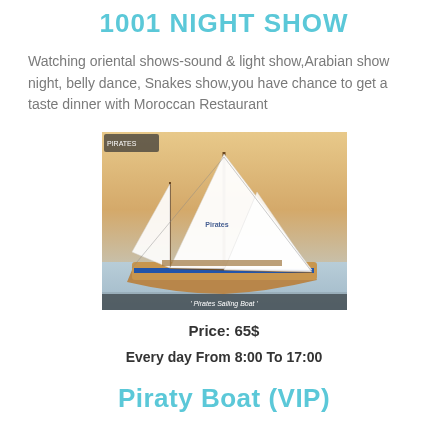1001 NIGHT SHOW
Watching oriental shows-sound & light show,Arabian show night, belly dance, Snakes show,you have chance to get a taste dinner with Moroccan Restaurant
[Figure (photo): A large sailing boat (Pirates Sailing Boat) on calm water at sunset, with tall white sails and a wooden deck. Text overlay at bottom: 'Pirates Sailing Boat'.]
Price: 65$
Every day From 8:00 To 17:00
Piraty Boat (VIP)